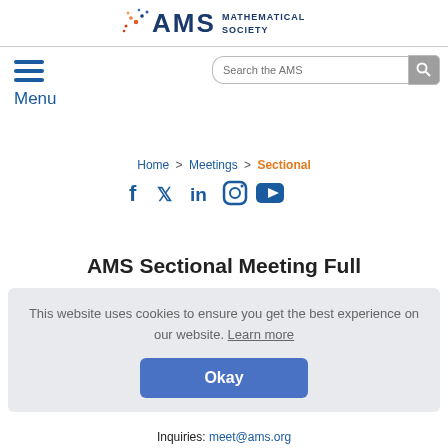AMS MATHEMATICAL SOCIETY
Search the AMS
Menu
Home > Meetings > Sectional
[Figure (infographic): Social media icons: Facebook, Twitter, LinkedIn, Instagram, YouTube]
AMS Sectional Meeting Full
This website uses cookies to ensure you get the best experience on our website. Learn more
Okay
Inquiries: meet@ams.org